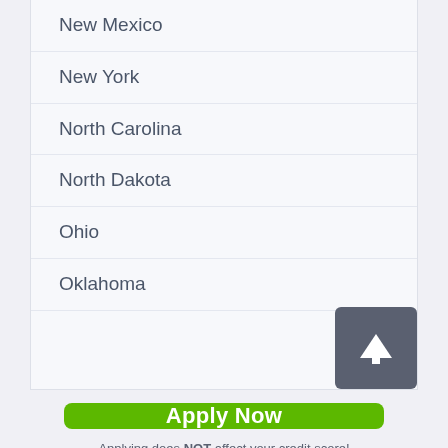New Mexico
New York
North Carolina
North Dakota
Ohio
Oklahoma
Apply Now
Applying does NOT affect your credit score!
No credit check to apply.